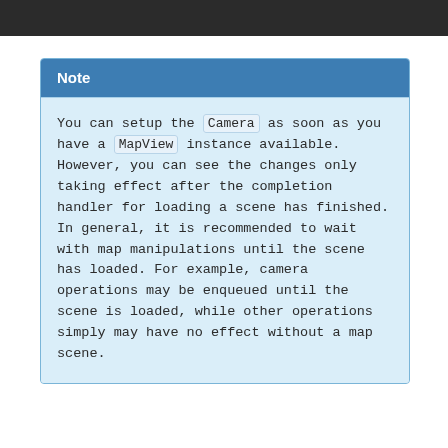Note
You can setup the Camera as soon as you have a MapView instance available. However, you can see the changes only taking effect after the completion handler for loading a scene has finished. In general, it is recommended to wait with map manipulations until the scene has loaded. For example, camera operations may be enqueued until the scene is loaded, while other operations simply may have no effect without a map scene.